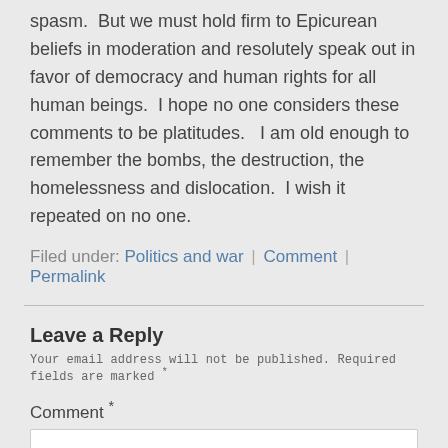spasm.  But we must hold firm to Epicurean beliefs in moderation and resolutely speak out in favor of democracy and human rights for all human beings.  I hope no one considers these comments to be platitudes.   I am old enough to remember the bombs, the destruction, the homelessness and dislocation.  I wish it repeated on no one.
Filed under: Politics and war | Comment | Permalink
Leave a Reply
Your email address will not be published. Required fields are marked *
Comment *